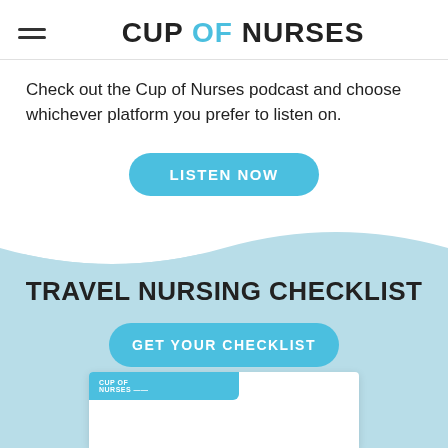CUP OF NURSES
Check out the Cup of Nurses podcast and choose whichever platform you prefer to listen on.
[Figure (other): LISTEN NOW button — rounded blue CTA button]
TRAVEL NURSING CHECKLIST
[Figure (other): GET YOUR CHECKLIST button — rounded blue CTA button]
[Figure (other): Partial preview of a Cup of Nurses checklist document with a teal header bar]